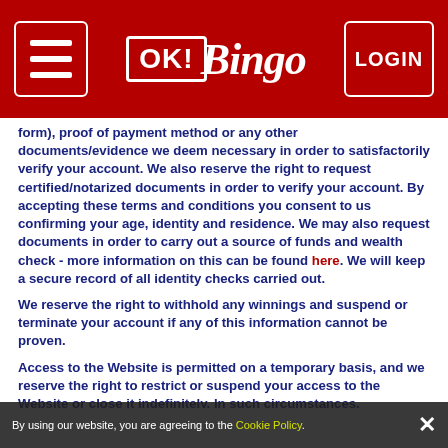OK! Bingo — LOGIN
form), proof of payment method or any other documents/evidence we deem necessary in order to satisfactorily verify your account. We also reserve the right to request certified/notarized documents in order to verify your account. By accepting these terms and conditions you consent to us confirming your age, identity and residence. We may also request documents in order to carry out a source of funds and wealth check - more information on this can be found here. We will keep a secure record of all identity checks carried out.
We reserve the right to withhold any winnings and suspend or terminate your account if any of this information cannot be proven.
Access to the Website is permitted on a temporary basis, and we reserve the right to restrict or suspend your access to the Website or close it indefinitely. In such circumstances, subject to all due diligence checks being
By using our website, you are agreeing to the Cookie Policy. ✕